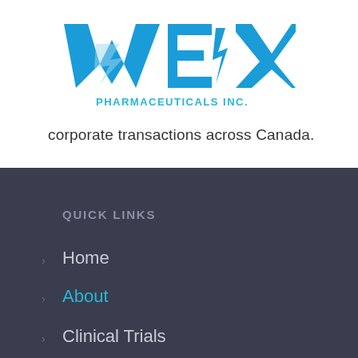[Figure (logo): WEX Pharmaceuticals Inc. logo with stylized blue W-E-X letters and lightning bolt design, with 'PHARMACEUTICALS INC.' text below in blue]
corporate transactions across Canada.
QUICK LINKS
Home
About
Clinical Trials